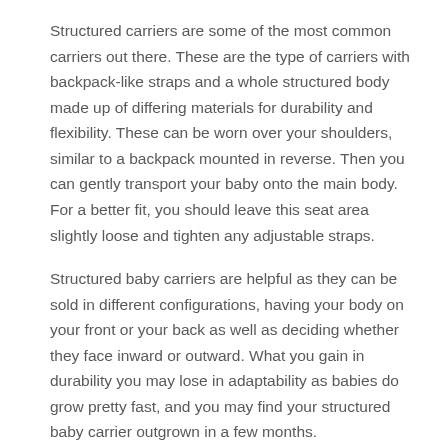Structured carriers are some of the most common carriers out there. These are the type of carriers with backpack-like straps and a whole structured body made up of differing materials for durability and flexibility. These can be worn over your shoulders, similar to a backpack mounted in reverse. Then you can gently transport your baby onto the main body. For a better fit, you should leave this seat area slightly loose and tighten any adjustable straps.
Structured baby carriers are helpful as they can be sold in different configurations, having your body on your front or your back as well as deciding whether they face inward or outward. What you gain in durability you may lose in adaptability as babies do grow pretty fast, and you may find your structured baby carrier outgrown in a few months.
Slings are next to the most common types of baby wraps, as these